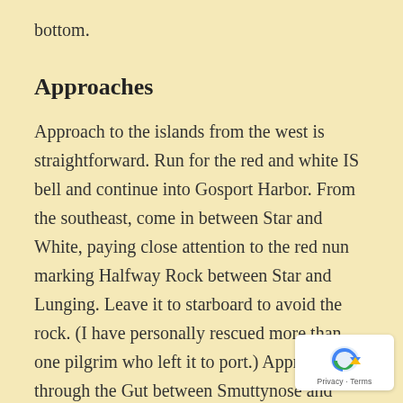bottom.
Approaches
Approach to the islands from the west is straightforward. Run for the red and white IS bell and continue into Gosport Harbor. From the southeast, come in between Star and White, paying close attention to the red nun marking Halfway Rock between Star and Lunging. Leave it to starboard to avoid the rock. (I have personally rescued more than one pilgrim who left it to port.) Approaches through the Gut between Smuttynose and Appledore are feasible but challenging in big seas from the